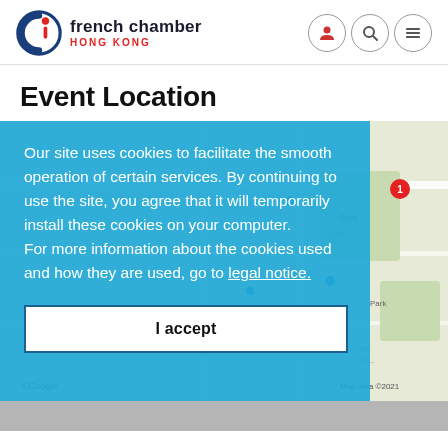[Figure (logo): French Chamber Hong Kong logo with circular 'Ci' icon in blue and red, followed by text 'french chamber HONG KONG']
Event Location
Our site uses cookies to facilitate the smooth operation of certain services. By continuing to use the site, you agree that it will temporarily install these cookies on your computer.
For more information about the cookies used and how they are used, go to legal notice.
[Figure (map): Partial Google map view showing Hong Kong area with location pins, visible behind the cookie consent overlay. Map data ©2021.]
I accept